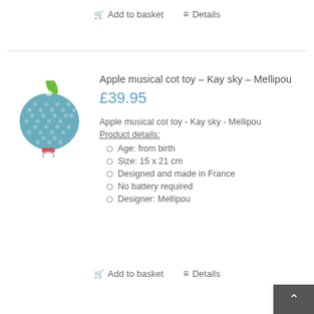Add to basket   Details
[Figure (photo): Apple-shaped musical cot toy in blue houndstooth fabric with a green leaf on top and a red tag with a ring clip at the bottom.]
Apple musical cot toy – Kay sky – Mellipou
£39.95
Apple musical cot toy - Kay sky - Mellipou
Product details:
Age: from birth
Size: 15 x 21 cm
Designed and made in France
No battery required
Designer: Mellipou
Add to basket   Details